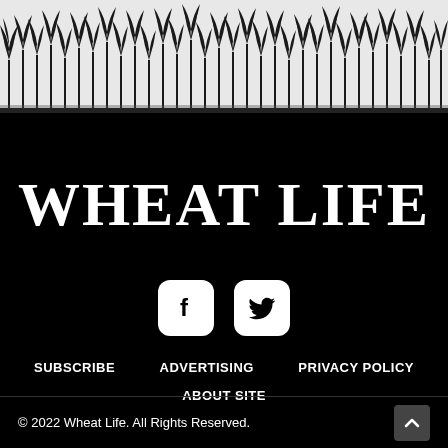[Figure (illustration): Black and white illustration of wheat field silhouette at the top of the page, with gray sky above and dark soil below]
WHEAT LIFE
[Figure (illustration): Facebook and Twitter social media icon buttons (white rounded squares with black icons)]
SUBSCRIBE
ADVERTISING
PRIVACY POLICY
ABOUT SITE
© 2022 Wheat Life. All Rights Reserved.